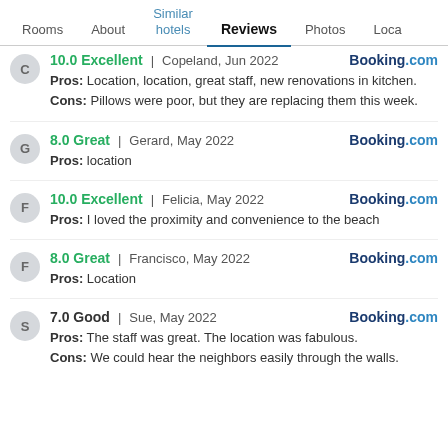Rooms | About | Similar hotels | Reviews | Photos | Loca
10.0 Excellent | Copeland, Jun 2022 | Booking.com
Pros: Location, location, great staff, new renovations in kitchen.
Cons: Pillows were poor, but they are replacing them this week.
8.0 Great | Gerard, May 2022 | Booking.com
Pros: location
10.0 Excellent | Felicia, May 2022 | Booking.com
Pros: I loved the proximity and convenience to the beach
8.0 Great | Francisco, May 2022 | Booking.com
Pros: Location
7.0 Good | Sue, May 2022 | Booking.com
Pros: The staff was great. The location was fabulous.
Cons: We could hear the neighbors easily through the walls.